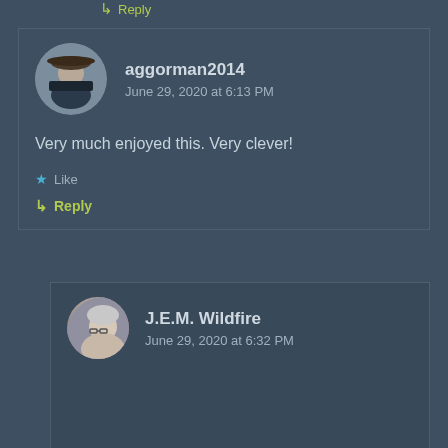Reply
aggorman2014
June 29, 2020 at 6:13 PM
Very much enjoyed this. Very clever!
Like
Reply
J.E.M. Wildfire
June 29, 2020 at 6:32 PM